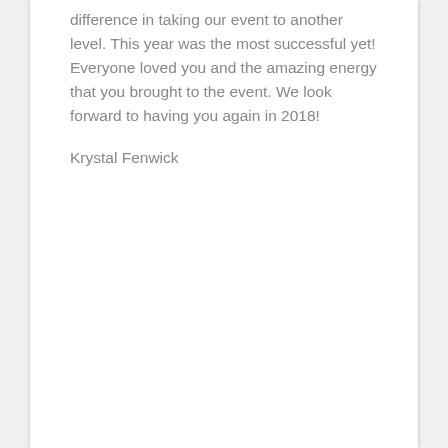difference in taking our event to another level. This year was the most successful yet! Everyone loved you and the amazing energy that you brought to the event. We look forward to having you again in 2018!
Krystal Fenwick